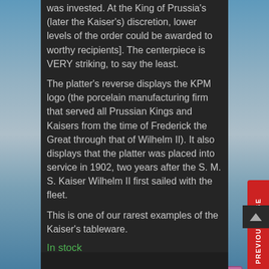was invested. At the King of Prussia's (later the Kaiser's) discretion, lower levels of the order could be awarded to worthy recipients]. The centerpiece is VERY striking, to say the least.
The platter's reverse displays the KPM logo (the porcelain manufacturing firm that served all Prussian Kings and Kaisers from the time of Frederick the Great through that of Wilhelm II). It also displays that the platter was placed into service in 1902, two years after the S. M. S. Kaiser Wilhelm II first sailed with the fleet.
This is one of our rarest examples of the Kaiser's tableware.
In stock
Learn More